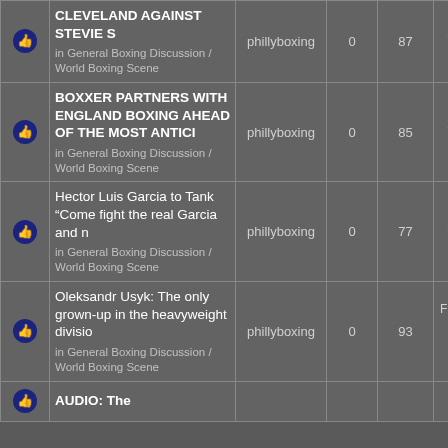|  |  | Author | Replies | Views | Last Post |
| --- | --- | --- | --- | --- | --- |
| [icon] | CLEVELAND AGAINST STEVIE S
in General Boxing Discussion / World Boxing Scene | phillyboxing | 0 | 87 | Sat Aug 27, 2022 1:59 am phillyboxing |
| [icon] | BOXXER PARTNERS WITH ENGLAND BOXING AHEAD OF THE MOST ANTICI
in General Boxing Discussion / World Boxing Scene | phillyboxing | 0 | 85 | Sat Aug 27, 2022 1:54 am phillyboxing |
| [icon] | Hector Luis Garcia to Tank "Come fight the real Garcia and n
in General Boxing Discussion / World Boxing Scene | phillyboxing | 0 | 77 | Sat Aug 27, 2022 1:51 am phillyboxing |
| [icon] | Oleksandr Usyk: The only grown-up in the heavyweight divisio
in General Boxing Discussion / World Boxing Scene | phillyboxing | 0 | 93 | Fri Aug 26, 2022 9:30 pm phillyboxing |
| [icon] | AUDIO: The |  |  |  |  |